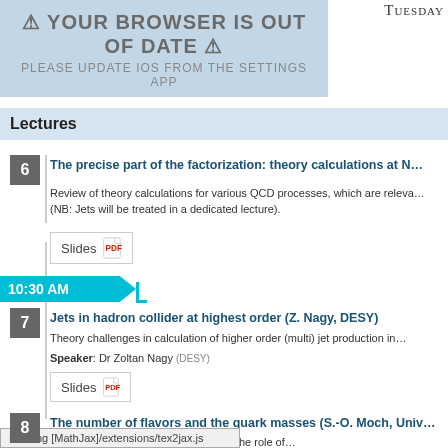Tuesday
[Figure (screenshot): Browser out of date warning overlay: '⚠ YOUR BROWSER IS OUT OF DATE ⚠' and 'PLEASE UPDATE IOS FROM THE SETTINGS APP']
Lectures
The precise part of the factorization: theory calculations at N…
Review of theory calculations for various QCD processes, which are releva… (NB: Jets will be treated in a dedicated lecture).
Slides [PDF icon]
10:30 AM
Jets in hadron collider at highest order (Z. Nagy, DESY)
Theory challenges in calculation of higher order (multi) jet production in…
Speaker: Dr Zoltan Nagy (DESY)
Slides [PDF icon]
The number of flavors and the quark masses (S.-O. Moch, Univ…
… mass concepts (running, pole) and the role of…
Loading [MathJax]/extensions/tex2jax.js